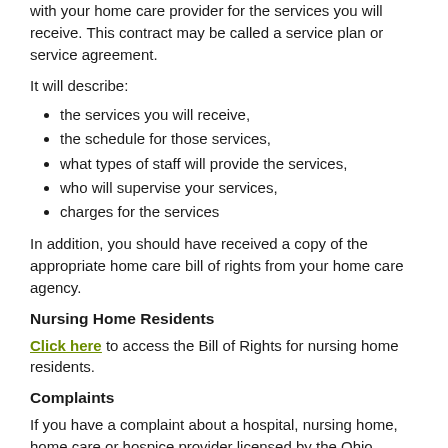with your home care provider for the services you will receive. This contract may be called a service plan or service agreement.
It will describe:
the services you will receive,
the schedule for those services,
what types of staff will provide the services,
who will supervise your services,
charges for the services
In addition, you should have received a copy of the appropriate home care bill of rights from your home care agency.
Nursing Home Residents
Click here to access the Bill of Rights for nursing home residents.
Complaints
If you have a complaint about a hospital, nursing home, home care or hospice provider licensed by the Ohio Department of Health, you can contact the Complaints Unit.
Mailing Address:
Ohio Department of Health
Complaint Unit
246 North High Street
Columbus, OH 43215